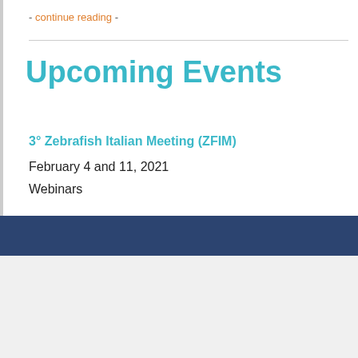- continue reading -
Upcoming Events
3° Zebrafish Italian Meeting (ZFIM)
February 4 and 11, 2021
Webinars
Cookie Notice
This website uses cookies to deliver to you the best experience possible on the IZFS website. By continuing to use this site, you are providing to us your consent to ensure you receive such an experience. View our privacy policy to learn more.
Accept